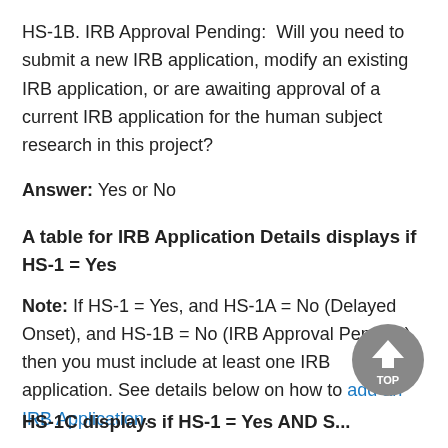HS-1B. IRB Approval Pending:  Will you need to submit a new IRB application, modify an existing IRB application, or are awaiting approval of a current IRB application for the human subject research in this project?
Answer: Yes or No
A table for IRB Application Details displays if HS-1 = Yes
Note: If HS-1 = Yes, and HS-1A = No (Delayed Onset), and HS-1B = No (IRB Approval Pending), then you must include at least one IRB application. See details below on how to add an IRB Application.
HS-1C displays if HS-1 = Yes AND S...